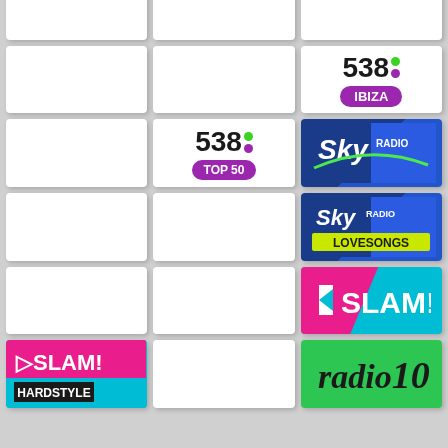[Figure (logo): Empty white card (top row left)]
[Figure (logo): Empty white card (top row middle)]
[Figure (logo): Partial card top (top row right)]
[Figure (logo): Empty white card (row 2 left)]
[Figure (logo): 538 Ibiza logo - black 538 text with green and purple dots, purple IBIZA pill]
[Figure (logo): Empty white card (row 3 left)]
[Figure (logo): 538 Top 50 logo - black 538 text with green and purple dots, purple TOP 50 pill]
[Figure (logo): Sky Radio logo - blue gradient background with Sky Radio branding]
[Figure (logo): Empty white card (row 4 middle)]
[Figure (logo): Sky Radio Lovesongs logo - blue gradient with Lovesongs text]
[Figure (logo): SLAM! logo - cyan and pink/magenta with play button icon]
[Figure (logo): SLAM! Hardstyle logo - pink top with cyan bottom and black HARDSTYLE bar]
[Figure (logo): Empty white card (bottom middle)]
[Figure (logo): Radio 10 logo - green background with italic radio 10 text]
[Figure (logo): Partial white card (bottom right)]